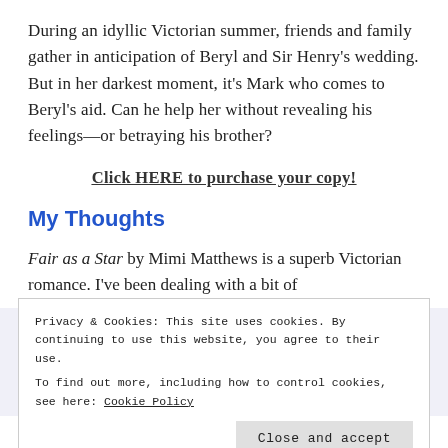During an idyllic Victorian summer, friends and family gather in anticipation of Beryl and Sir Henry's wedding. But in her darkest moment, it's Mark who comes to Beryl's aid. Can he help her without revealing his feelings—or betraying his brother?
Click HERE to purchase your copy!
My Thoughts
Fair as a Star by Mimi Matthews is a superb Victorian romance. I've been dealing with a bit of
Privacy & Cookies: This site uses cookies. By continuing to use this website, you agree to their use.
To find out more, including how to control cookies, see here: Cookie Policy
Close and accept
My husband chuckled when I told him and said,